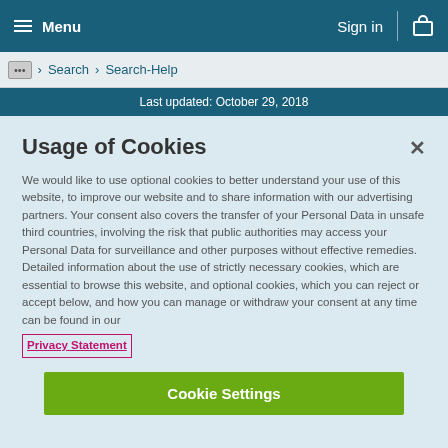Menu   Sign in
... > Search > Search-Help
Last updated: October 29, 2018
Usage of Cookies
We would like to use optional cookies to better understand your use of this website, to improve our website and to share information with our advertising partners. Your consent also covers the transfer of your Personal Data in unsafe third countries, involving the risk that public authorities may access your Personal Data for surveillance and other purposes without effective remedies. Detailed information about the use of strictly necessary cookies, which are essential to browse this website, and optional cookies, which you can reject or accept below, and how you can manage or withdraw your consent at any time can be found in our Privacy Statement
Cookie Settings